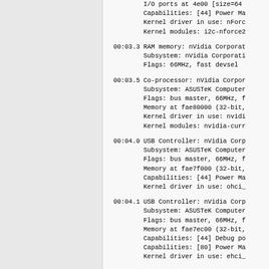I/O ports at 4e00 [size=64]
Capabilities: [44] Power Ma
Kernel driver in use: nForc
Kernel modules: i2c-nforce2
00:03.3 RAM memory: nVidia Corporat
Subsystem: nVidia Corporati
Flags: 66MHz, fast devsel
00:03.5 Co-processor: nVidia Corpor
Subsystem: ASUSTeK Computer
Flags: bus master, 66MHz, f
Memory at fae80000 (32-bit,
Kernel driver in use: nvidi
Kernel modules: nvidia-curr
00:04.0 USB Controller: nVidia Corp
Subsystem: ASUSTeK Computer
Flags: bus master, 66MHz, f
Memory at fae7f000 (32-bit,
Capabilities: [44] Power Ma
Kernel driver in use: ohci_
00:04.1 USB Controller: nVidia Corp
Subsystem: ASUSTeK Computer
Flags: bus master, 66MHz, f
Memory at fae7ec00 (32-bit,
Capabilities: [44] Debug po
Capabilities: [80] Power Ma
Kernel driver in use: ehci_
00:08.0 Audio device: nVidia Corpor
Subsystem: ASUSTeK Compute